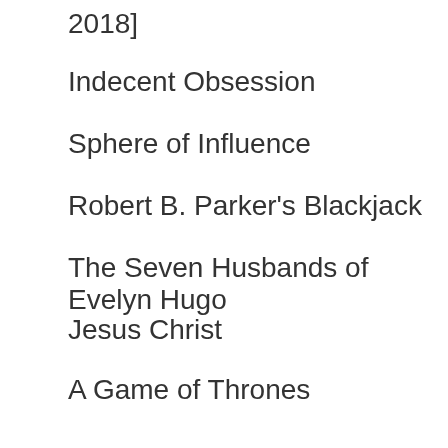2018]
Indecent Obsession
Sphere of Influence
Robert B. Parker's Blackjack
The Seven Husbands of Evelyn Hugo
Jesus Christ
A Game of Thrones
Lessons in Chemistry
Trending
Ritual Of Blood
The Arrangement 7